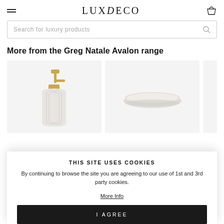LUXDECO
Search for luxury products
More from the Greg Natale Avalon range
[Figure (photo): Soap dispenser with gold pump, arched ribbed body in light grey/white ceramic, Greg Natale Avalon range]
[Figure (photo): Oval flat soap dish / tray in light grey ceramic, Greg Natale Avalon range]
THIS SITE USES COOKIES
By continuing to browse the site you are agreeing to our use of 1st and 3rd party cookies.
More Info
I AGREE